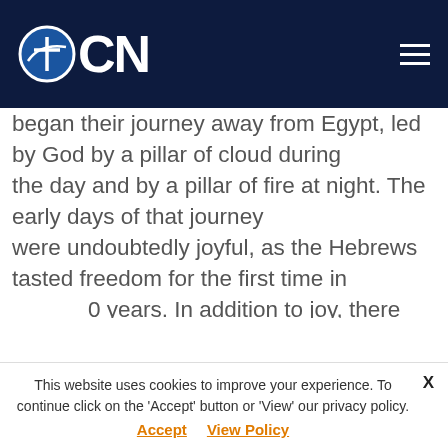OCN
began their journey away from Egypt, led by God by a pillar of cloud during the day and by a pillar of fire at night. The early days of that journey were undoubtedly joyful, as the Hebrews tasted freedom for the first time in [4]00 years. In addition to joy, there must have been renewed confidence, as the people knew they were being led by God, and God was on their side and not on the side of the Egyptians, who had had their first-born sons struck
This website uses cookies to improve your experience. To continue click on the 'Accept' button or 'View' our privacy policy.
Accept  View Policy